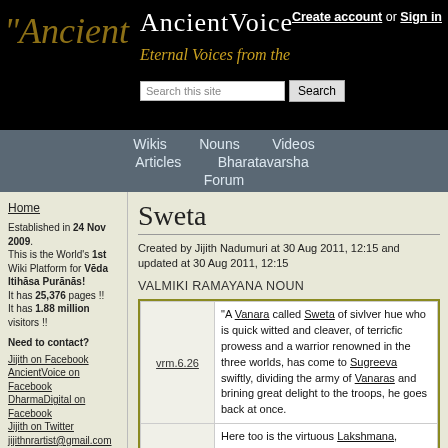AncientVoice — Eternal Voices from the past. Create account or Sign in. Search this site.
Wikis | Nouns | Videos | Articles | Bharatavarsha | Forum
Home
Established in 24 Nov 2009. This is the World's 1st Wiki Platform for Vēda Itihāsa Purānās! It has 25,376 pages !! It has 1.88 million visitors !!
Need to contact?
Jijith on Facebook
AncientVoice on Facebook
DharmaDigital on Facebook
Jijith on Twitter
jijithnrartist@gmail.com
jijithnr@gmail.com
Sweta
Created by Jijith Nadumuri at 30 Aug 2011, 12:15 and updated at 30 Aug 2011, 12:15
VALMIKI RAMAYANA NOUN
| Reference | Text |
| --- | --- |
| vrm.6.26 | "A Vanara called Sweta of sivlver hue who is quick witted and cleaver, of terricfic prowess and a warrior renowned in the three worlds, has come to Sugreeva swiftly, dividing the army of Vanaras and brining great delight to the troops, he goes back at once. |
|  | Here too is the virtuous Lakshmana, resembling the most excellent Elephant among Elephants, in the |